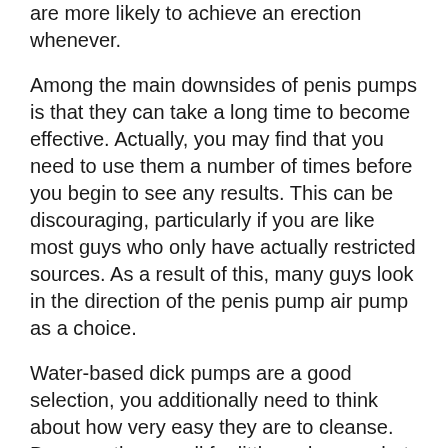are more likely to achieve an erection whenever.
Among the main downsides of penis pumps is that they can take a long time to become effective. Actually, you may find that you need to use them a number of times before you begin to see any results. This can be discouraging, particularly if you are like most guys who only have actually restricted sources. As a result of this, many guys look in the direction of the penis pump air pump as a choice.
Water-based dick pumps are a good selection, you additionally need to think about how very easy they are to cleanse. Because they small for little and somewhat b...